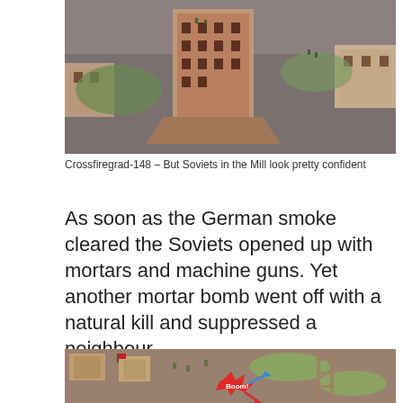[Figure (photo): Wargaming tabletop scene showing miniature ruined buildings and soldier figurines on a gray mat, depicting a Stalingrad-style battle scene. Multi-story ruined building in center with smaller ruins around it.]
Crossfiregrad-148 – But Soviets in the Mill look pretty confident
As soon as the German smoke cleared the Soviets opened up with mortars and machine guns. Yet another mortar bomb went off with a natural kill and suppressed a neighbour.
[Figure (photo): Wargaming tabletop scene showing miniature buildings, soldier figurines, terrain pieces with oval green mats on a brown table. A red star-shaped 'Boom!' explosion marker is visible in the lower portion with red and blue arrow markers.]